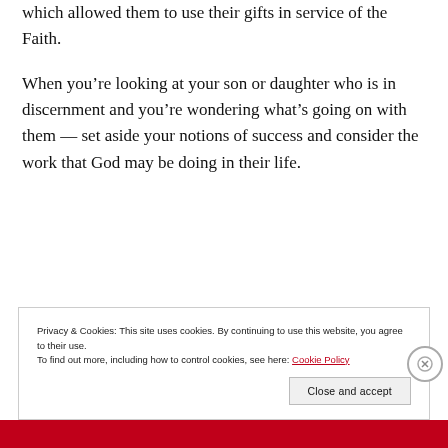which allowed them to use their gifts in service of the Faith.
When you're looking at your son or daughter who is in discernment and you're wondering what's going on with them — set aside your notions of success and consider the work that God may be doing in their life.
Privacy & Cookies: This site uses cookies. By continuing to use this website, you agree to their use.
To find out more, including how to control cookies, see here: Cookie Policy
Close and accept